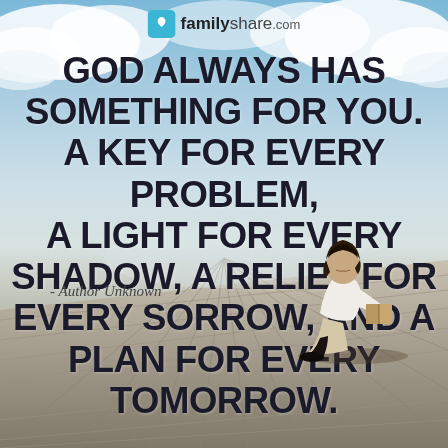[Figure (illustration): Inspirational quote image with sky and wooden deck background, child reading a book seated on deck, familyshare.com logo at top. Quote reads: GOD ALWAYS HAS SOMETHING FOR YOU. A KEY FOR EVERY PROBLEM, A LIGHT FOR EVERY SHADOW, A RELIEF FOR EVERY SORROW, AND A PLAN FOR EVERY TOMORROW. - Author Unknown]
familyshare.com
GOD ALWAYS HAS SOMETHING FOR YOU. A KEY FOR EVERY PROBLEM, A LIGHT FOR EVERY SHADOW, A RELIEF FOR EVERY SORROW, AND A PLAN FOR EVERY TOMORROW.
- Author Unknown